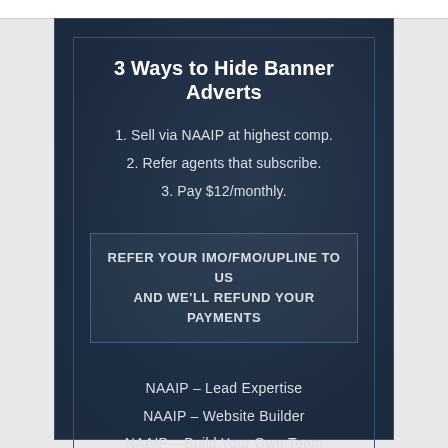3 Ways to Hide Banner Adverts
1. Sell via NAAIP at highest comp.
2. Refer agents that subscribe.
3. Pay $12/monthly.
REFER YOUR IMO/FMO/UPLINE TO US AND WE'LL REFUND YOUR PAYMENTS
NAAIP  -  Lead Expertise
NAAIP  -  Website Builder
NAAIP  -  Build Your Own Team